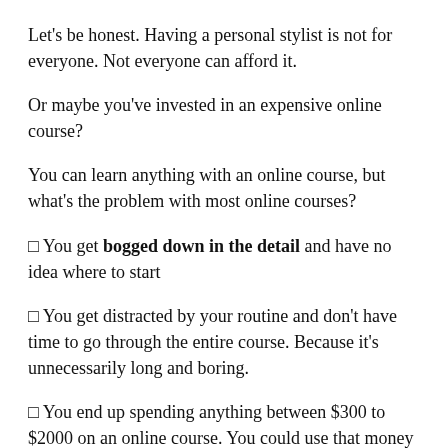Let's be honest. Having a personal stylist is not for everyone. Not everyone can afford it.
Or maybe you've invested in an expensive online course?
You can learn anything with an online course, but what's the problem with most online courses?
❑ You get bogged down in the detail and have no idea where to start
❑ You get distracted by your routine and don't have time to go through the entire course. Because it's unnecessarily long and boring.
❑ You end up spending anything between $300 to $2000 on an online course. You could use that money to buy clothes.